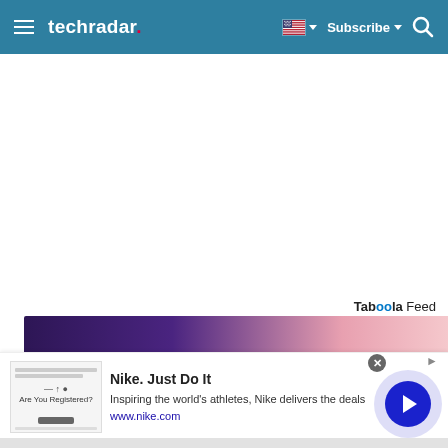techradar — Subscribe
Taboola Feed
[Figure (photo): Partial image strip with purple/pink gradient background, part of a Taboola feed thumbnail]
[Figure (screenshot): Nike advertisement overlay: Nike. Just Do It — Inspiring the world's athletes, Nike delivers the deals — www.nike.com — with thumbnail showing 'Are You Registered?' and a navigation arrow button]
Nike. Just Do It
Inspiring the world's athletes, Nike delivers the deals
www.nike.com